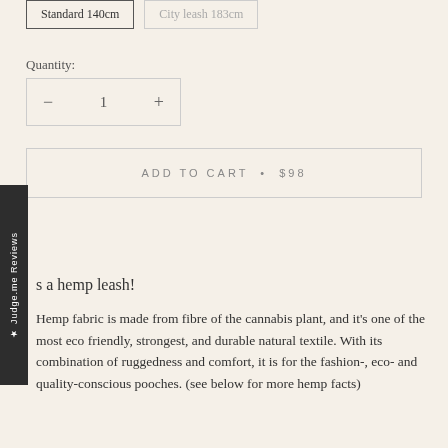Standard 140cm | City leash 183cm
Quantity:
— 1 +
ADD TO CART • $98
★ Judge.me Reviews
s a hemp leash!
Hemp fabric is made from fibre of the cannabis plant, and it's one of the most eco friendly, strongest, and durable natural textile. With its combination of ruggedness and comfort, it is for the fashion-, eco- and quality-conscious pooches. (see below for more hemp facts)